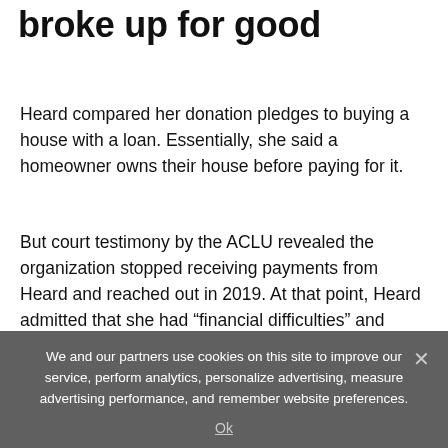broke up for good
Heard compared her donation pledges to buying a house with a loan. Essentially, she said a homeowner owns their house before paying for it.
But court testimony by the ACLU revealed the organization stopped receiving payments from Heard and reached out in 2019. At that point, Heard admitted that she had “financial difficulties” and could not meet her yearly obligations.
Anyone who hasn’t made a payment on their mortgage in years would likely no longer have a claim
We and our partners use cookies on this site to improve our service, perform analytics, personalize advertising, measure advertising performance, and remember website preferences.
Ok